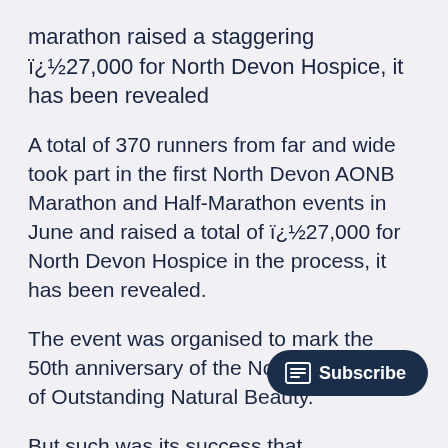marathon raised a staggering ï¿½27,000 for North Devon Hospice, it has been revealed
A total of 370 runners from far and wide took part in the first North Devon AONB Marathon and Half-Marathon events in June and raised a total of ï¿½27,000 for North Devon Hospice in the process, it has been revealed.
The event was organised to mark the 50th anniversary of the North Devon Area of Outstanding Natural Beauty.
But such was its success that a date has already been fixed for next year. It will be held on Sunday, June 26, 2011.